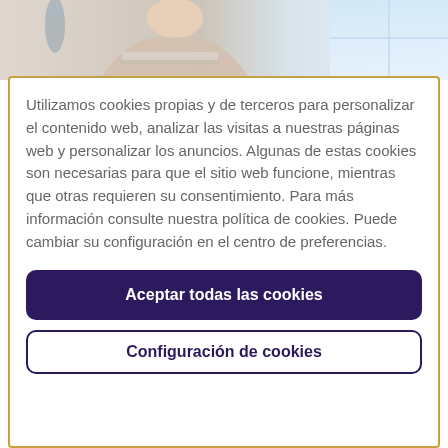[Figure (photo): Photo of a person (woman) working on a laptop in a bright home/office environment, visible in the top portion of the page above the cookie consent dialog.]
Utilizamos cookies propias y de terceros para personalizar el contenido web, analizar las visitas a nuestras páginas web y personalizar los anuncios. Algunas de estas cookies son necesarias para que el sitio web funcione, mientras que otras requieren su consentimiento. Para más información consulte nuestra política de cookies. Puede cambiar su configuración en el centro de preferencias.
Aceptar todas las cookies
Configuración de cookies